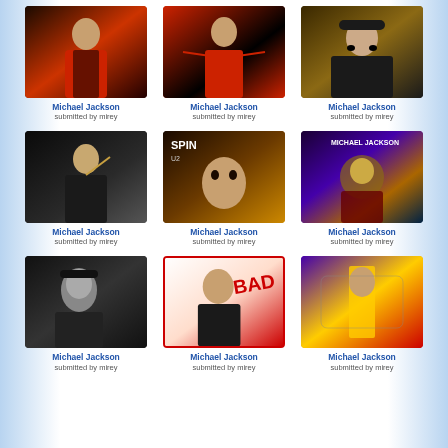[Figure (photo): Michael Jackson in red jacket performing on stage]
Michael Jackson
submitted by mirey
[Figure (photo): Michael Jackson in red jacket with arms outstretched]
Michael Jackson
submitted by mirey
[Figure (photo): Michael Jackson in black hat and sunglasses smiling]
Michael Jackson
submitted by mirey
[Figure (photo): Michael Jackson performing pointing upward]
Michael Jackson
submitted by mirey
[Figure (photo): SPIN magazine U2 cover featuring Michael Jackson]
Michael Jackson
submitted by mirey
[Figure (photo): Michael Jackson Dangerous album artwork]
Michael Jackson
submitted by mirey
[Figure (photo): Michael Jackson black and white portrait]
Michael Jackson
submitted by mirey
[Figure (photo): Michael Jackson Bad album cover]
Michael Jackson
submitted by mirey
[Figure (photo): Michael Jackson in golden costume on stage]
Michael Jackson
submitted by mirey